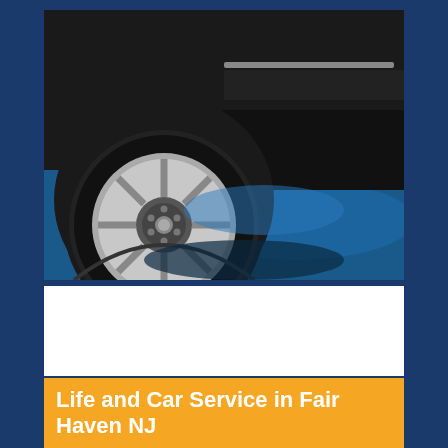[Figure (photo): Close-up photo of a car wheel/tire with silver alloy rim, parked on a blue surface/floor. The car body is dark/black visible at the top right. The floor beneath the car is illuminated in blue.]
Life and Car Service in Fair Haven NJ